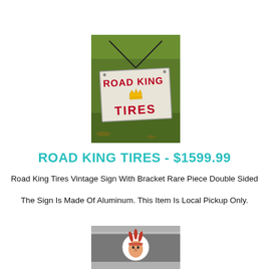[Figure (photo): Photo of a Road King Tires vintage double-sided sign with bracket, lying on grass. The sign is white with red arched text 'ROAD KING' at top, a gold crown in the middle, and large red text 'TIRES' below.]
ROAD KING TIRES - $1599.99
Road King Tires Vintage Sign With Bracket Rare Piece Double Sided
The Sign Is Made Of Aluminum. This Item Is Local Pickup Only.
[Figure (photo): Partial photo of another vintage sign showing a Native American chief head logo on a gray metallic background, partially cropped.]